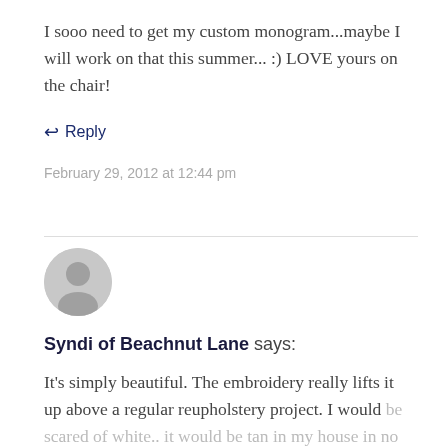I sooo need to get my custom monogram...maybe I will work on that this summer... :) LOVE yours on the chair!
↩ Reply
February 29, 2012 at 12:44 pm
[Figure (illustration): Generic user avatar - grey circle with a person silhouette]
Syndi of Beachnut Lane says:
It's simply beautiful. The embroidery really lifts it up above a regular reupholstery project. I would be scared of white.. it would be tan in my house in no time! But the white is lovely